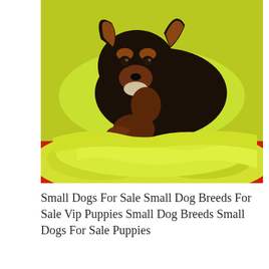[Figure (photo): A small black and tan Yorkshire Terrier puppy lying on a bright yellow-green fluffy blanket against a red surface. The puppy faces the camera with dark eyes and small erect ears with tan markings.]
Small Dogs For Sale Small Dog Breeds For Sale Vip Puppies Small Dog Breeds Small Dogs For Sale Puppies